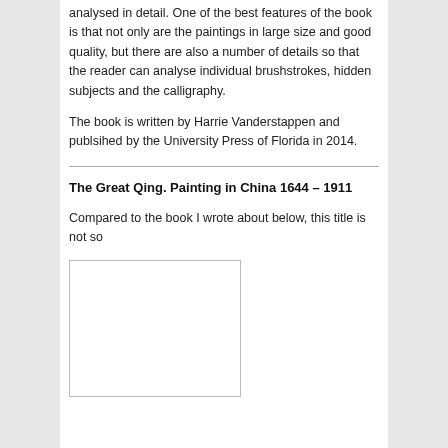analysed in detail. One of the best features of the book is that not only are the paintings in large size and good quality, but there are also a number of details so that the reader can analyse individual brushstrokes, hidden subjects and the calligraphy.
The book is written by Harrie Vanderstappen and publsihed by the University Press of Florida in 2014.
The Great Qing. Painting in China 1644 – 1911
Compared to the book I wrote about below, this title is not so
[Figure (photo): A blank/white image placeholder with a light border, partially visible at the bottom of the page.]